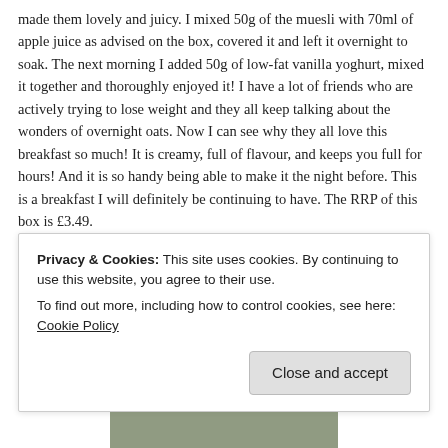made them lovely and juicy. I mixed 50g of the muesli with 70ml of apple juice as advised on the box, covered it and left it overnight to soak. The next morning I added 50g of low-fat vanilla yoghurt, mixed it together and thoroughly enjoyed it! I have a lot of friends who are actively trying to lose weight and they all keep talking about the wonders of overnight oats. Now I can see why they all love this breakfast so much! It is creamy, full of flavour, and keeps you full for hours! And it is so handy being able to make it the night before. This is a breakfast I will definitely be continuing to have. The RRP of this box is £3.49.
[Figure (photo): Partial photo of a bowl or product, visible at top and bottom edges of page behind cookie banner]
Privacy & Cookies: This site uses cookies. By continuing to use this website, you agree to their use.
To find out more, including how to control cookies, see here: Cookie Policy
Close and accept